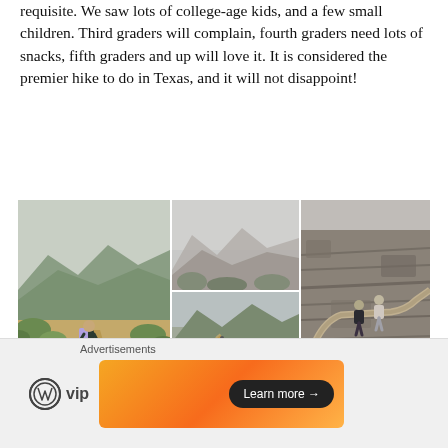requisite. We saw lots of college-age kids, and a few small children. Third graders will complain, fourth graders need lots of snacks, fifth graders and up will love it. It is considered the premier hike to do in Texas, and it will not disappoint!
[Figure (photo): A collage of four hiking trail photos from a mountainous desert landscape in Texas, showing a hiker with a backpack on a desert trail, misty mountain peaks, a winding dusty trail through shrubs, and two hikers on a rocky narrow cliff path.]
Day 5: Rio Grande Village. It was a lot warmer on this side
Advertisements
[Figure (logo): WordPress VIP logo with circular WordPress icon and 'vip' text, alongside an advertisement banner with orange gradient and 'Learn more' button.]